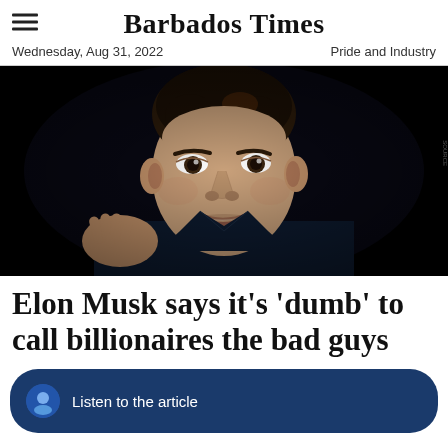Barbados Times
Wednesday, Aug 31, 2022        Pride and Industry
[Figure (photo): Elon Musk photographed against a dark black background, wearing a black leather jacket, gesturing with his right hand while speaking.]
Elon Musk says it's 'dumb' to call billionaires the bad guys
Listen to the article